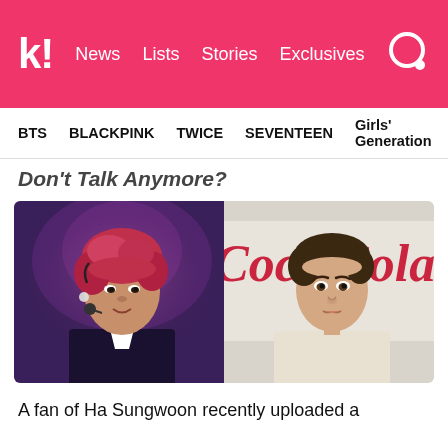K! News Lists Stories Exclusives
BTS  BLACKPINK  TWICE  SEVENTEEN  Girls' Generation
Don't Talk Anymore?
[Figure (photo): Side-by-side photo: left shows Ha Sungwoon performing with red/pink hair and a headset microphone, wearing a dark suit; right shows Charlie Puth in a white shirt in front of a Coca-Cola logo background.]
A fan of Ha Sungwoon recently uploaded a